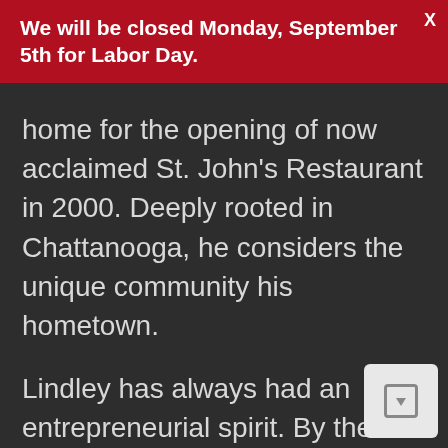We will be closed Monday, September 5th for Labor Day.
home for the opening of now acclaimed St. John’s Restaurant in 2000. Deeply rooted in Chattanooga, he considers the unique community his hometown.
Lindley has always had an entrepreneurial spirit. By the time he was 23, he was the executive chef at St. John’s. Soon after, he became partner and took over ownership in 2004, at which time he conceptualized and opened the more casual Meeting Place next door. By 2009, his third restaurant, Alleia, opened its doors in the Southside of Chattanooga. In addition to